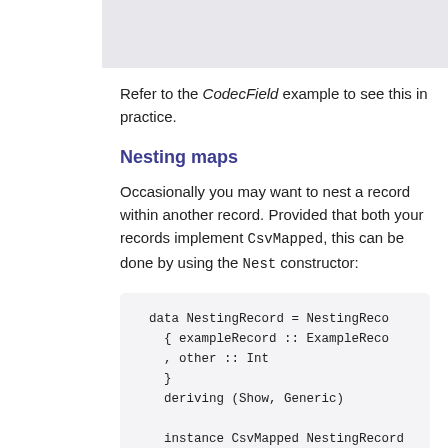[Figure (screenshot): Gray top banner image area]
Refer to the CodecField example to see this in practice.
Nesting maps
Occasionally you may want to nest a record within another record. Provided that both your records implement CsvMapped, this can be done by using the Nest constructor:
[Figure (screenshot): Code block showing: data NestingRecord = NestingReco
    { exampleRecord :: ExampleReco
    , other :: Int
    }
    deriving (Show, Generic)

    instance CsvMapped NestingRecord]